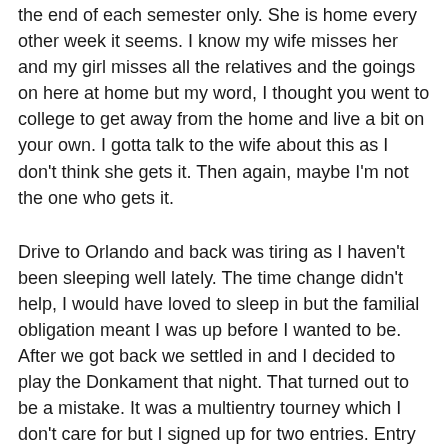the end of each semester only. She is home every other week it seems. I know my wife misses her and my girl misses all the relatives and the goings on here at home but my word, I thought you went to college to get away from the home and live a bit on your own. I gotta talk to the wife about this as I don't think she gets it. Then again, maybe I'm not the one who gets it.
Drive to Orlando and back was tiring as I haven't been sleeping well lately. The time change didn't help, I would have loved to sleep in but the familial obligation meant I was up before I wanted to be. After we got back we settled in and I decided to play the Donkament that night. That turned out to be a mistake. It was a multientry tourney which I don't care for but I signed up for two entries. Entry number one went down in flames early as Miami Luckbox err Don tried to steal a pot. I raised in mid position with 66 and he called from the big blind. Flop was Q-3-2 with 2 diamonds. I bet 3/4 of the pot and he put in a substantial raise. I thought for a while and put him on a draw so I pushed all in over the top. He called with AK of diamonds which rivered a king to beat me down. So my first entry went down, 71 out of 72.